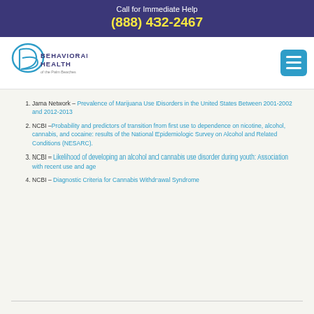Call for Immediate Help
(888) 432-2467
[Figure (logo): Behavioral Health of the Palm Beaches logo with stylized B/R letterform in blue]
Jama Network – Prevalence of Marijuana Use Disorders in the United States Between 2001-2002 and 2012-2013
NCBI –Probability and predictors of transition from first use to dependence on nicotine, alcohol, cannabis, and cocaine: results of the National Epidemiologic Survey on Alcohol and Related Conditions (NESARC).
NCBI – Likelihood of developing an alcohol and cannabis use disorder during youth: Association with recent use and age
NCBI – Diagnostic Criteria for Cannabis Withdrawal Syndrome